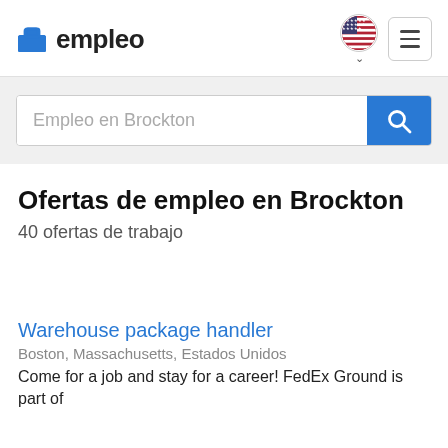empleo
Empleo en Brockton
Ofertas de empleo en Brockton
40 ofertas de trabajo
Warehouse package handler
Boston, Massachusetts, Estados Unidos
Come for a job and stay for a career! FedEx Ground is part of